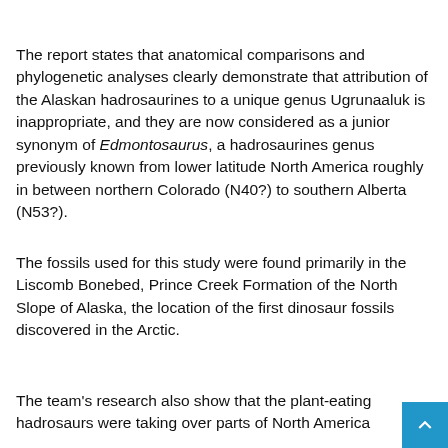The report states that anatomical comparisons and phylogenetic analyses clearly demonstrate that attribution of the Alaskan hadrosaurines to a unique genus Ugrunaaluk is inappropriate, and they are now considered as a junior synonym of Edmontosaurus, a hadrosaurines genus previously known from lower latitude North America roughly in between northern Colorado (N40?) to southern Alberta (N53?).
The fossils used for this study were found primarily in the Liscomb Bonebed, Prince Creek Formation of the North Slope of Alaska, the location of the first dinosaur fossils discovered in the Arctic.
The team's research also show that the plant-eating hadrosaurs were taking over parts of North America